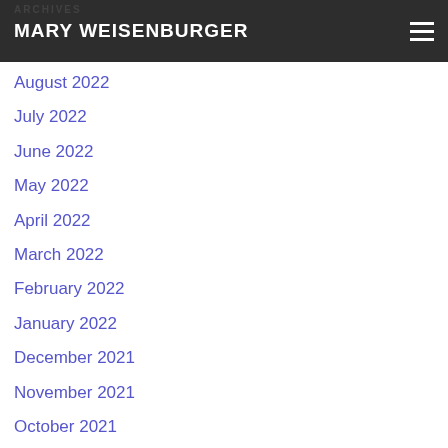MARY WEISENBURGER
ARCHIVES
August 2022
July 2022
June 2022
May 2022
April 2022
March 2022
February 2022
January 2022
December 2021
November 2021
October 2021
September 2021
August 2021
July 2021
June 2021
May 2021
April 2021